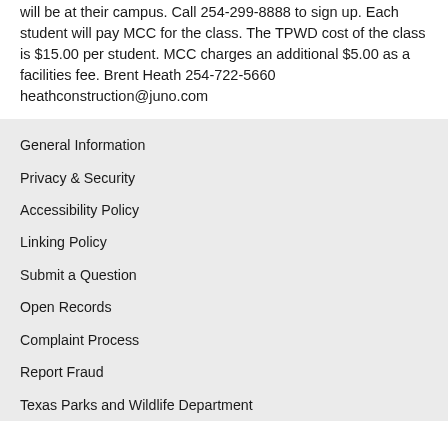will be at their campus. Call 254-299-8888 to sign up. Each student will pay MCC for the class. The TPWD cost of the class is $15.00 per student. MCC charges an additional $5.00 as a facilities fee. Brent Heath 254-722-5660 heathconstruction@juno.com
General Information
Privacy & Security
Accessibility Policy
Linking Policy
Submit a Question
Open Records
Complaint Process
Report Fraud
Texas Parks and Wildlife Department